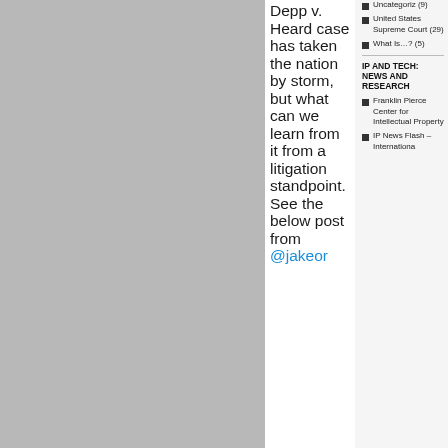[Figure (other): Gray background area on left side of page]
Depp v. Heard case has taken the nation by storm, but what can we learn from it from a litigation standpoint. See the below post from @jakeor
Uncategoriz (9)
United States Supreme Court (29)
What Is…? (5)
IP AND TECH: NEWS AND RESEARCH
Franklin Pierce Center for Intellectual Property
IP News Flash – Internationa